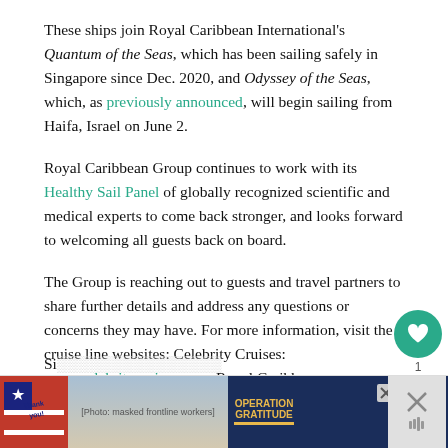These ships join Royal Caribbean International's Quantum of the Seas, which has been sailing safely in Singapore since Dec. 2020, and Odyssey of the Seas, which, as previously announced, will begin sailing from Haifa, Israel on June 2.
Royal Caribbean Group continues to work with its Healthy Sail Panel of globally recognized scientific and medical experts to come back stronger, and looks forward to welcoming all guests back on board.
The Group is reaching out to guests and travel partners to share further details and address any questions or concerns they may have. For more information, visit the cruise line websites: Celebrity Cruises: www.celebritycruises.com, Royal Caribbean: www.royalcaribbean.com and Si[cut off]
[Figure (photo): Advertisement banner at the bottom showing a 'Thank you' patriotic graphic on the left, a photo of three masked people in the center, and an Operation Gratitude logo on a dark blue background on the right, with a close X button.]